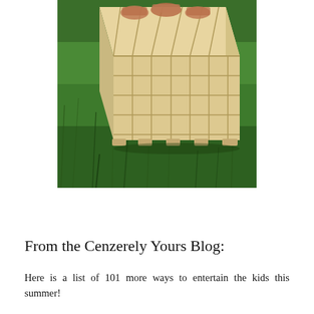[Figure (photo): A wooden crate or basket with slatted sides, filled with items, sitting on green grass viewed from above at an angle.]
From the Cenzerely Yours Blog:
Here is a list of 101 more ways to entertain the kids this summer!